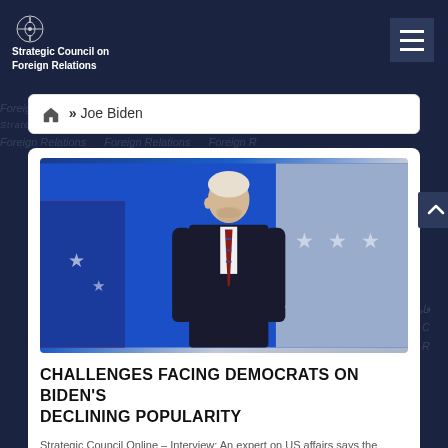Strategic Council on Foreign Relations
» Joe Biden
[Figure (photo): Joe Biden in a dark suit with a red-striped tie, standing with hands in pockets, looking downward, against a blue and red patriotic stage backdrop with stars]
CHALLENGES FACING DEMOCRATS ON BIDEN'S DECLINING POPULARITY
Strategic Council Online – Interview: An expert on US affairs says the Democrats are facing the challenge of unpopularity and…